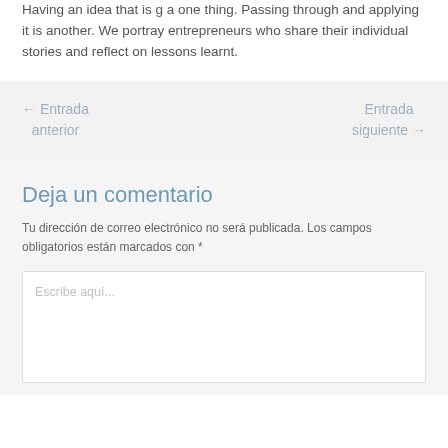Having an idea that is g a one thing. Passing through and applying it is another. We portray entrepreneurs who share their individual stories and reflect on lessons learnt.
← Entrada anterior
Entrada siguiente →
Deja un comentario
Tu dirección de correo electrónico no será publicada. Los campos obligatorios están marcados con *
Escribe aquí...